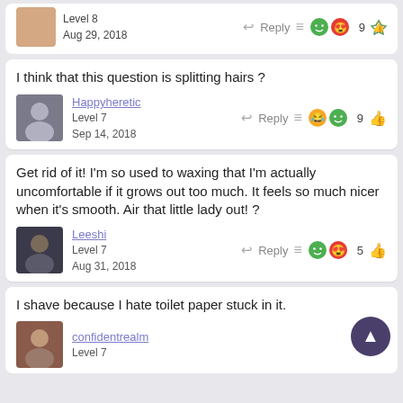Level 8
Aug 29, 2018
I think that this question is splitting hairs ?
Happyheretic
Level 7
Sep 14, 2018
Get rid of it! I'm so used to waxing that I'm actually uncomfortable if it grows out too much. It feels so much nicer when it's smooth. Air that little lady out! ?
Leeshi
Level 7
Aug 31, 2018
I shave because I hate toilet paper stuck in it.
confidentrealm
Level 7